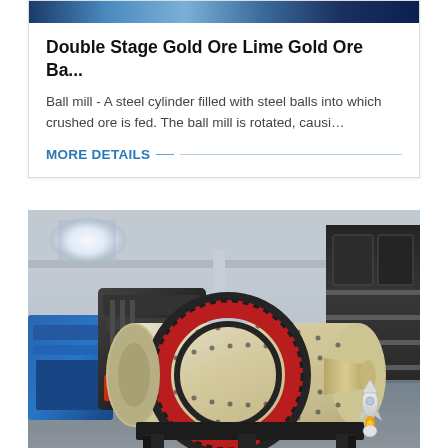[Figure (photo): Top partial image of industrial ball mill machinery with blue/dark metal components]
Double Stage Gold Ore Lime Gold Ore Ba...
Ball mill - A steel cylinder filled with steel balls into which crushed ore is fed. The ball mill is rotated, causi…
MORE DETAILS
[Figure (photo): Industrial ball mill equipment in a factory warehouse. Shows a large cream/beige cylindrical ball mill with a prominent red and black gear ring, supported on a black frame. Blue crushing machine visible on the left. Factory interior with concrete floors and industrial lighting.]